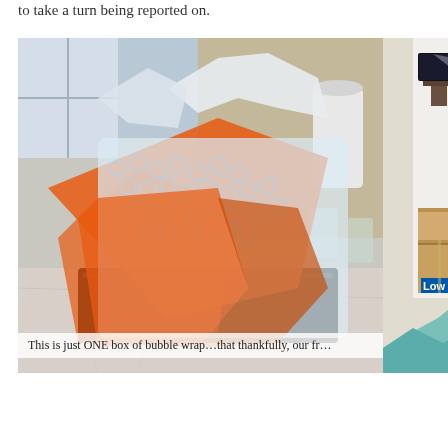to take a turn being reported on.
[Figure (photo): A black tray/box filled with bubble wrap and orange mesh/netting packaging material, sitting on a marble surface. Behind it is a paper towel roll and some glass jars. Bright window light in the background.]
This is just ONE box of bubble wrap…that thankfully, our fr…
[Figure (photo): Partial view of a room with a TV on the wall and cardboard moving boxes, one labeled 'Lowe's'. Light teal/green fabric in the lower right corner.]